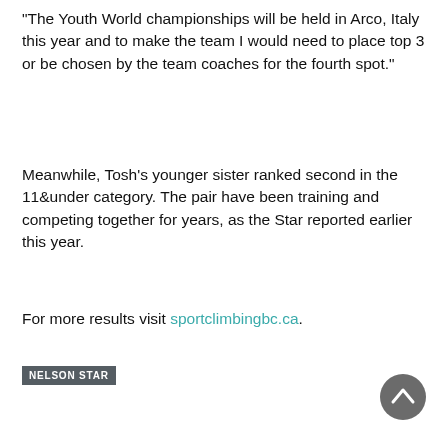“The Youth World championships will be held in Arco, Italy this year and to make the team I would need to place top 3 or be chosen by the team coaches for the fourth spot.”
Meanwhile, Tosh’s younger sister ranked second in the 11&under category. The pair have been training and competing together for years, as the Star reported earlier this year.
For more results visit sportclimbingbc.ca.
NELSON STAR